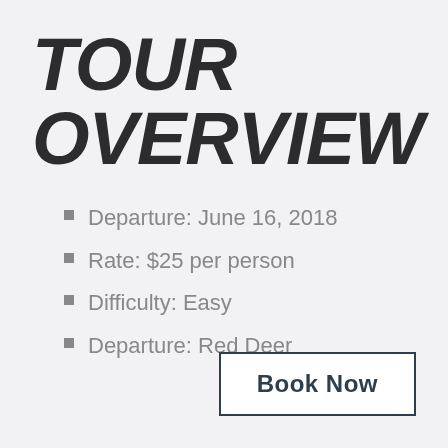TOUR OVERVIEW
Departure: June 16, 2018
Rate: $25 per person
Difficulty: Easy
Departure: Red Deer
Book Now